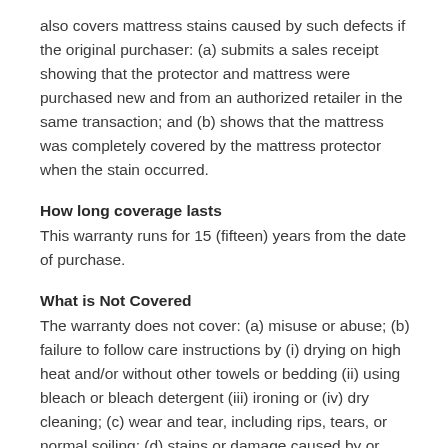also covers mattress stains caused by such defects if the original purchaser: (a) submits a sales receipt showing that the protector and mattress were purchased new and from an authorized retailer in the same transaction; and (b) shows that the mattress was completely covered by the mattress protector when the stain occurred.
How long coverage lasts
This warranty runs for 15 (fifteen) years from the date of purchase.
What is Not Covered
The warranty does not cover: (a) misuse or abuse; (b) failure to follow care instructions by (i) drying on high heat and/or without other towels or bedding (ii) using bleach or bleach detergent (iii) ironing or (iv) dry cleaning; (c) wear and tear, including rips, tears, or normal soiling; (d) stains or damage caused by or related to: (i) inks, nail polish, cosmetics, bleach, non